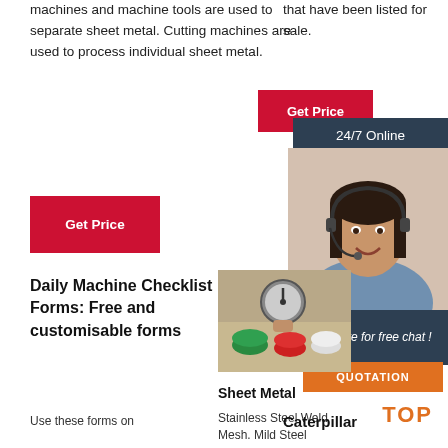machines and machine tools are used to separate sheet metal. Cutting machines are used to process individual sheet metal.
[Figure (other): Red Get Price button on left side]
that have been listed for sale.
[Figure (other): Red Get Price button on right side]
[Figure (other): Dark blue 24/7 Online banner]
[Figure (photo): Customer service woman wearing headset, smiling]
[Figure (other): Dark blue banner: Click here for free chat!]
[Figure (other): Orange QUOTATION button]
Daily Machine Checklist Forms: Free and customisable forms
Use these forms on
[Figure (photo): Photo of sheet metal and measurement tools including calipers and colored paint samples]
Sheet Metal
Stainless Steel Weld Mesh. Mild Steel Perforated Sheet
Caterpillar
TOP